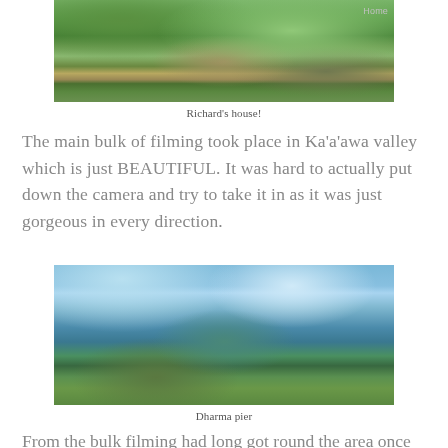[Figure (photo): Photo of Richard's house - a structure built into a hillside with ladders, surrounded by lush green trees and grass]
Home
Richard's house!
The main bulk of filming took place in Ka'a'awa valley which is just BEAUTIFUL. It was hard to actually put down the camera and try to take it in as it was just gorgeous in every direction.
[Figure (photo): Photo of Dharma pier - a wooden dock/pier extending into a calm lake or bay with mountains and blue sky in the background, green tropical foliage in foreground]
Dharma pier
From the bulk filming had long got round the area once still